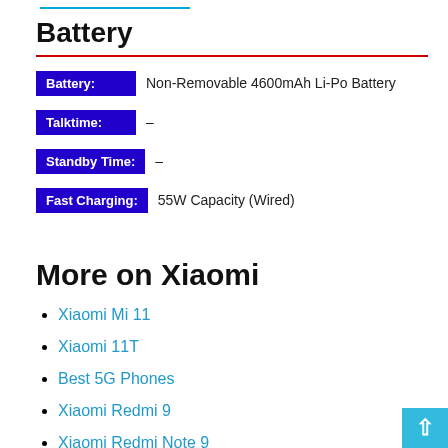Battery
Battery: Non-Removable 4600mAh Li-Po Battery
Talktime: –
Standby Time: –
Fast Charging: 55W Capacity (Wired)
More on Xiaomi
Xiaomi Mi 11
Xiaomi 11T
Best 5G Phones
Xiaomi Redmi 9
Xiaomi Redmi Note 9